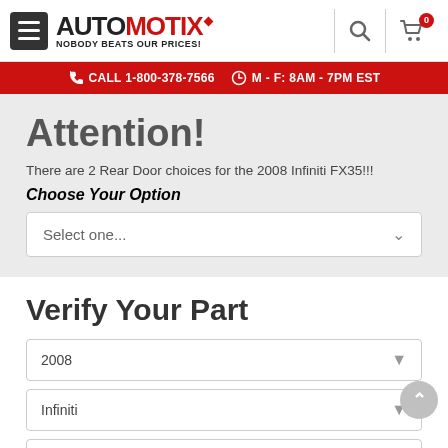[Figure (logo): Automotix logo with hamburger menu, search icon, and cart icon]
CALL 1-800-378-7566   M - F: 8AM - 7PM EST
Attention!
There are 2 Rear Door choices for the 2008 Infiniti FX35!!!
Choose Your Option
Select one...
Verify Your Part
2008
Infiniti
FX35